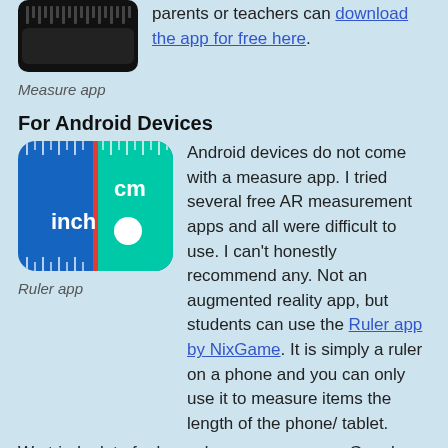[Figure (screenshot): Screenshot of a measure app icon - dark comb/ruler shape on black background]
parents or teachers can download the app for free here.
Measure app
For Android Devices
[Figure (screenshot): Ruler app icon showing blue and green sections with 'inch' and 'cm' labels and a red vertical line]
Android devices do not come with a measure app. I tried several free AR measurement apps and all were difficult to use. I can't honestly recommend any. Not an augmented reality app, but students can use the Ruler app by NixGame. It is simply a ruler on a phone and you can only use it to measure items the length of the phone/ tablet. We tried a lot of ruler and measure apps on Google Play and this is the one we recommend as the easiest for elementary school students to
Ruler app